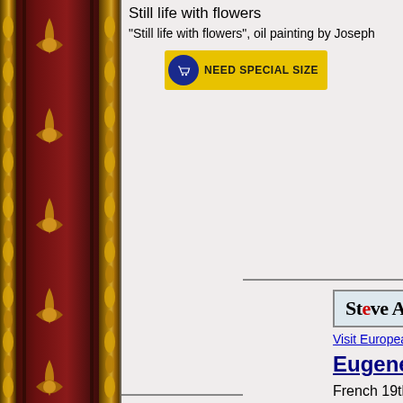[Figure (photo): Decorative ornate picture frame with dark red and gold colors on left side of page]
Still life with flowers
"Still life with flowers", oil painting by Joseph
[Figure (other): NEED SPECIAL SIZE button with shopping cart icon on yellow/gold background]
[Figure (other): Steve Art Gallery logo in box with light blue/gray background]
Visit European Gallery
Eugene Bidau
French 19th Century